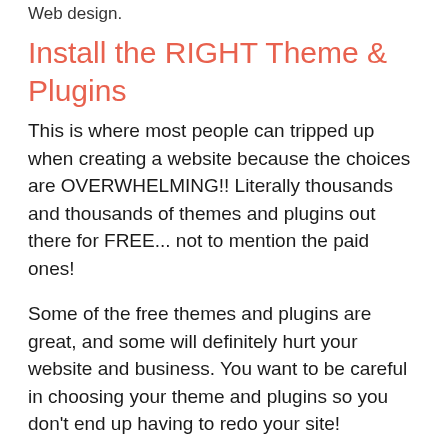Web design.
Install the RIGHT Theme & Plugins
This is where most people can tripped up when creating a website because the choices are OVERWHELMING!! Literally thousands and thousands of themes and plugins out there for FREE... not to mention the paid ones!
Some of the free themes and plugins are great, and some will definitely hurt your website and business. You want to be careful in choosing your theme and plugins so you don't end up having to redo your site!
So start with the basics and just get what you need.